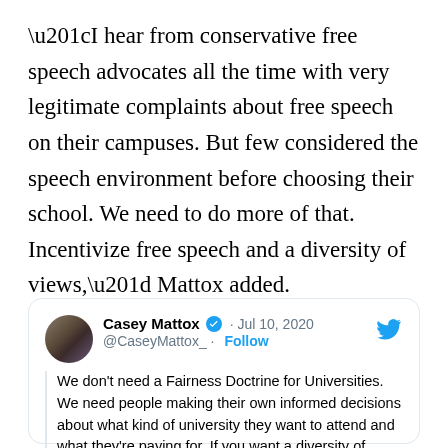“I hear from conservative free speech advocates all the time with very legitimate complaints about free speech on their campuses. But few considered the speech environment before choosing their school. We need to do more of that. Incentivize free speech and a diversity of views,” Mattox added.
[Figure (screenshot): Tweet by Casey Mattox (@CaseyMattox_) dated Jul 10, 2020 with verified badge and Follow link. Tweet text: We don't need a Fairness Doctrine for Universities. We need people making their own informed decisions about what kind of university they want to attend and what they're paying for. If you want a diversity of views (and you should)]